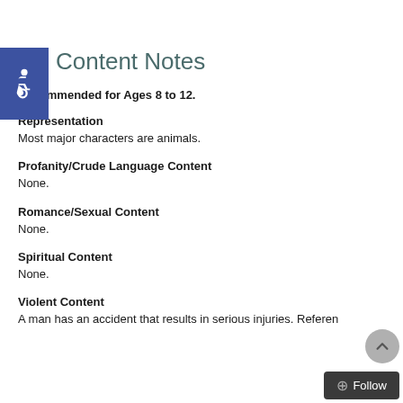[Figure (logo): Blue square accessibility icon with wheelchair symbol in white]
Content Notes
Recommended for Ages 8 to 12.
Representation
Most major characters are animals.
Profanity/Crude Language Content
None.
Romance/Sexual Content
None.
Spiritual Content
None.
Violent Content
A man has an accident that results in serious injuries. Referen